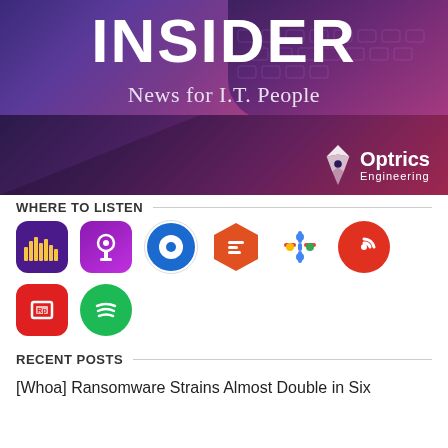[Figure (illustration): INSIDER News for I.T. People banner with Optrics Engineering logo on a purple/pink gradient background with keyboard]
WHERE TO LISTEN
[Figure (infographic): Row of podcast app icons: Anchor, Apple Podcasts, Breaker, Castbox, Google Podcasts, Pocket Casts, RadioPublic, Spotify]
RECENT POSTS
[Whoa] Ransomware Strains Almost Double in Six